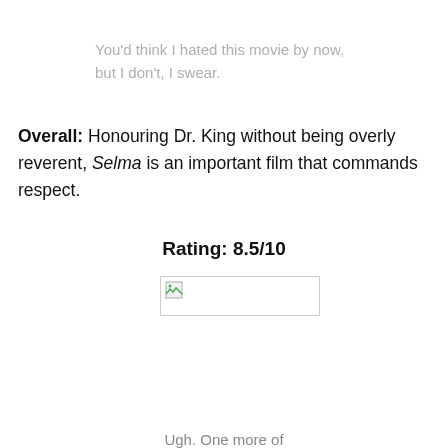You'd think I hated this movie by now, but I don't, I swear.
Overall: Honouring Dr. King without being overly reverent, Selma is an important film that commands respect.
Rating: 8.5/10
[Figure (other): Broken image placeholder — a small image icon with a border rectangle]
Ugh. One more of